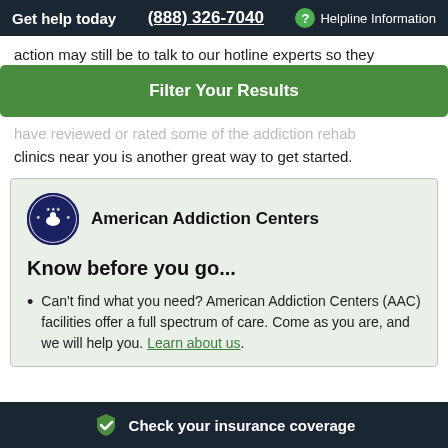Get help today | (888) 326-7040 | ? Helpline Information
action may still be to talk to our hotline experts so they
Filter Your Results
have reviewed or rated some of the addiction rehab clinics near you is another great way to get started.
[Figure (logo): American Addiction Centers logo — circle with stars and figure icon, beside text 'American Addiction Centers']
Know before you go...
Can't find what you need? American Addiction Centers (AAC) facilities offer a full spectrum of care. Come as you are, and we will help you. Learn about us.
Check your insurance coverage